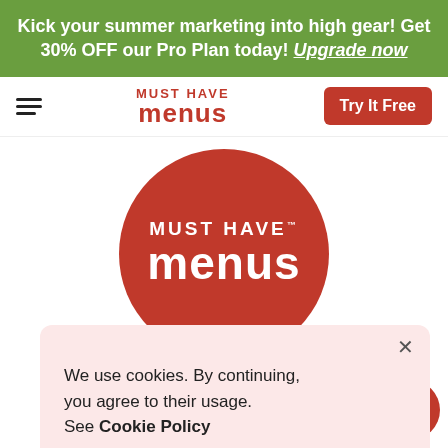Kick your summer marketing into high gear! Get 30% OFF our Pro Plan today! Upgrade now
[Figure (logo): Must Have Menus text logo in nav bar]
Try It Free
[Figure (logo): Must Have Menus large circular red logo]
We use cookies. By continuing, you agree to their usage. See Cookie Policy
Agree